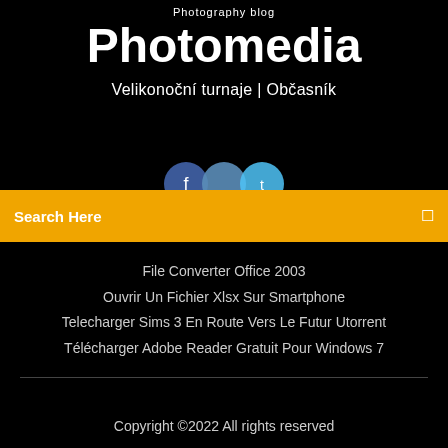Photography blog
Photomedia
Velikonoční turnaje | Občasník
[Figure (illustration): Three overlapping circular social media icons in shades of blue]
Search Here
File Converter Office 2003
Ouvrir Un Fichier Xlsx Sur Smartphone
Telecharger Sims 3 En Route Vers Le Futur Utorrent
Télécharger Adobe Reader Gratuit Pour Windows 7
Copyright ©2022 All rights reserved